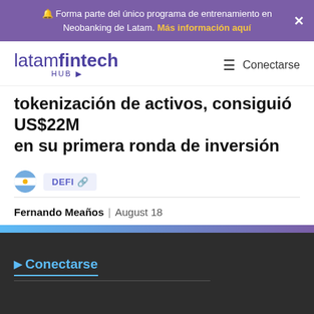🔔 Forma parte del único programa de entrenamiento en Neobanking de Latam. Más información aquí
[Figure (logo): latamfintech HUB logo in purple]
tokenización de activos, consiguió US$22M en su primera ronda de inversión
DEFI 🔗
Fernando Meaños | August 18
▶ Conectarse